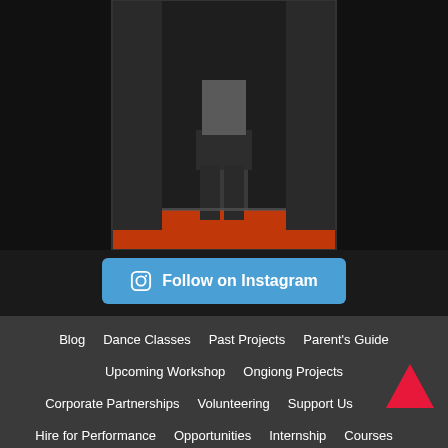[Figure (photo): Person standing on an orange floor in front of dark curtains, likely a dance or performance studio. The image is partially cropped showing the lower body.]
Follow on Instagram
Blog
Dance Classes
Past Projects
Parent's Guide
Upcoming Workshop
Ongiong Projects
Corporate Partnerships
Volunteering
Support Us
Hire for Performance
Opportunities
Internship
Courses
Artistic Collaboration
Upcoming Performance